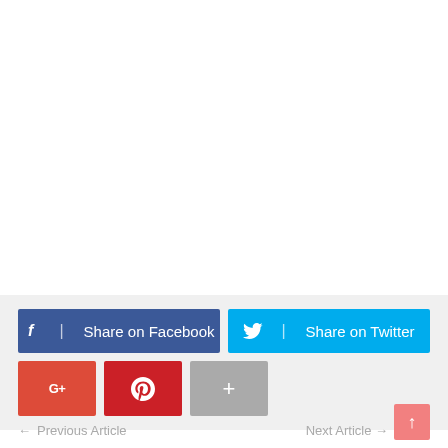[Figure (screenshot): Social media share buttons: Share on Facebook (dark blue), Share on Twitter (cyan blue), Google+ (red), Pinterest (dark red), More/plus (grey)]
← Previous Article
Next Article →